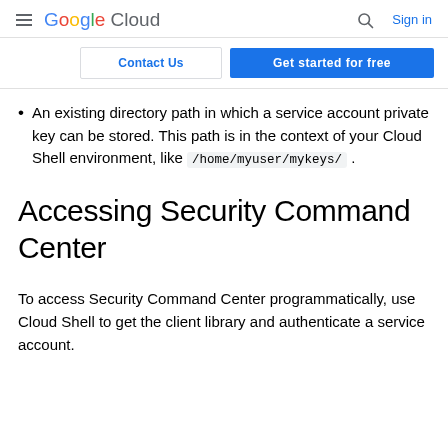Google Cloud — Search — Sign in
Contact Us | Get started for free
An existing directory path in which a service account private key can be stored. This path is in the context of your Cloud Shell environment, like /home/myuser/mykeys/ .
Accessing Security Command Center
To access Security Command Center programmatically, use Cloud Shell to get the client library and authenticate a service account.